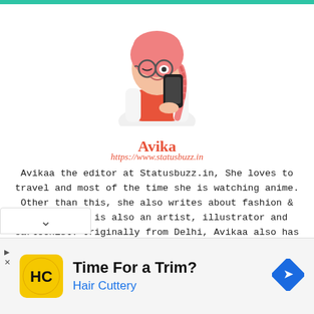[Figure (illustration): Cartoon illustration of a young woman with pink hair in a braid, wearing glasses and a red top, holding a smartphone up as if taking a selfie.]
Avika
https://www.statusbuzz.in
Avikaa the editor at Statusbuzz.in, She loves to travel and most of the time she is watching anime. Other than this, she also writes about fashion & beauty. She is also an artist, illustrator and cartoonist. Originally from Delhi, Avikaa also has a degree in Marketing and has worked in agency. For feedback and questions, please email itsavikaa@statusbuzz.in
[Figure (advertisement): Advertisement for Hair Cuttery with yellow logo bearing HC initials and text 'Time For a Trim?' with blue 'Hair Cuttery' subtext and a blue navigation arrow icon on the right.]